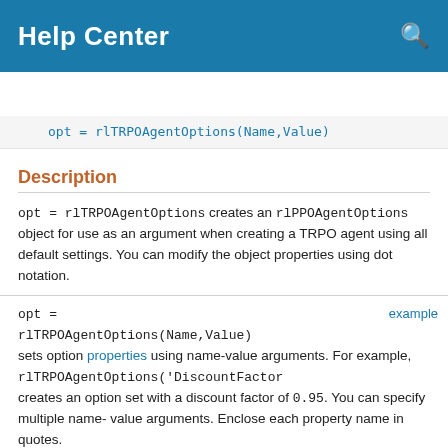Help Center
Resources ▼
opt = rlTRPOAgentOptions(Name,Value)
Description
opt = rlTRPOAgentOptions creates an rlPPOAgentOptions object for use as an argument when creating a TRPO agent using all default settings. You can modify the object properties using dot notation.
opt = rlTRPOAgentOptions(Name,Value) sets option properties using name-value arguments. For example, rlTRPOAgentOptions('DiscountFactor creates an option set with a discount factor of 0.95. You can specify multiple name-value arguments. Enclose each property name in quotes.